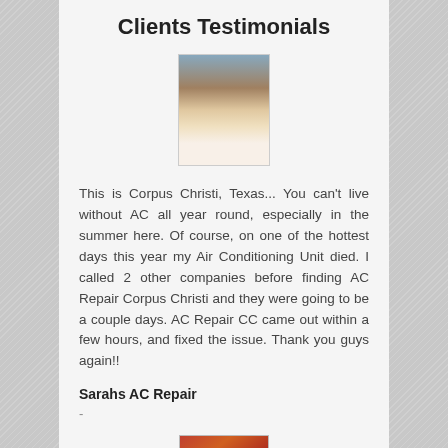Clients Testimonials
[Figure (photo): Portrait photo of a young woman in a white dress with dark hair]
This is Corpus Christi, Texas... You can't live without AC all year round, especially in the summer here. Of course, on one of the hottest days this year my Air Conditioning Unit died. I called 2 other companies before finding AC Repair Corpus Christi and they were going to be a couple days. AC Repair CC came out within a few hours, and fixed the issue. Thank you guys again!!
Sarahs AC Repair
-
[Figure (photo): Partial photo visible at bottom of page, appears to show a decorative circular object]